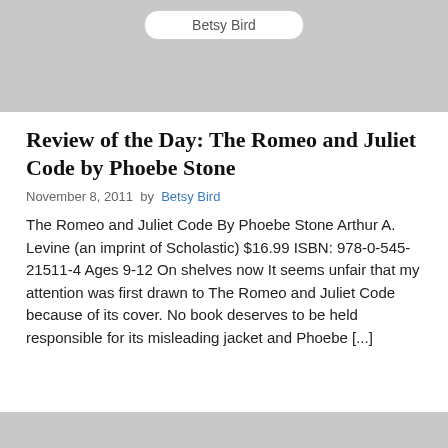[Figure (screenshot): Gray banner area at top with a rounded search box containing the text 'Betsy Bird']
Review of the Day: The Romeo and Juliet Code by Phoebe Stone
November 8, 2011 by Betsy Bird
The Romeo and Juliet Code By Phoebe Stone Arthur A. Levine (an imprint of Scholastic) $16.99 ISBN: 978-0-545-21511-4 Ages 9-12 On shelves now It seems unfair that my attention was first drawn to The Romeo and Juliet Code because of its cover. No book deserves to be held responsible for its misleading jacket and Phoebe [...]
[Figure (screenshot): Gray banner area at the bottom of the page, partially visible]